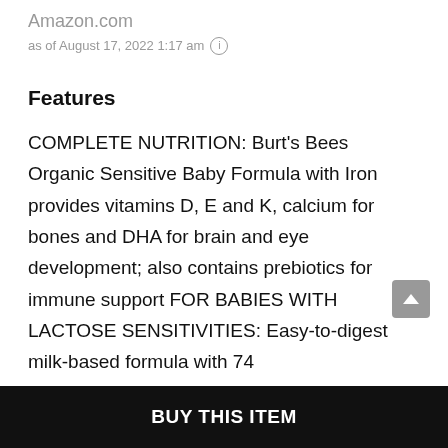Amazon.com
as of August 17, 2022 1:17 am ℹ
Features
COMPLETE NUTRITION: Burt's Bees Organic Sensitive Baby Formula with Iron provides vitamins D, E and K, calcium for bones and DHA for brain and eye development; also contains prebiotics for immune support FOR BABIES WITH LACTOSE SENSITIVITIES: Easy-to-digest milk-based formula with 74
BUY THIS ITEM